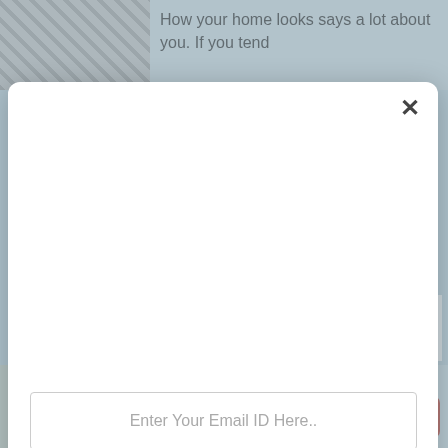[Figure (screenshot): Background website page showing article snippets partially visible behind a modal popup overlay]
How your home looks says a lot about you. If you tend
[Figure (screenshot): Modal popup dialog with close (×) button, email input field with placeholder 'Enter Your Email ID Here..', and a blue SUBSCRIBE NOW button]
should go back to the drawing board. A home...
Continue Reading
How To Maximize Space In Your